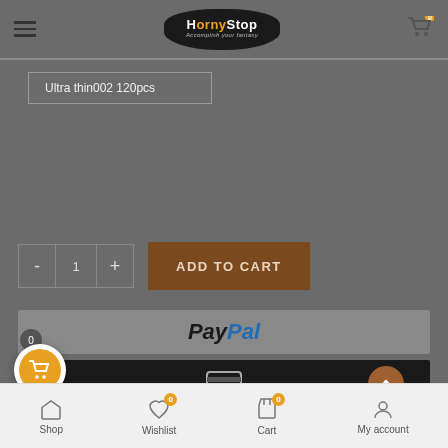HornyStop — Accomplish your fantasy
Ultra thin002 120pcs
- 1 + ADD TO CART
[Figure (logo): PayPal payment button bar]
[Figure (other): Debit/credit card payment bar with card icon and scroll-to-top button]
Shop | Wishlist | Cart | My account